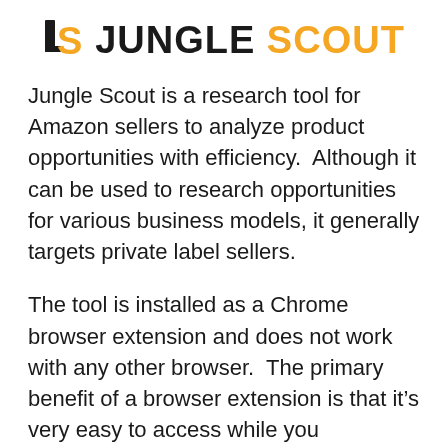[Figure (logo): Jungle Scout logo: JS icon in black with orange S accent, followed by JUNGLE in black bold and SCOUT in orange bold text]
Jungle Scout is a research tool for Amazon sellers to analyze product opportunities with efficiency.  Although it can be used to research opportunities for various business models, it generally targets private label sellers.
The tool is installed as a Chrome browser extension and does not work with any other browser.  The primary benefit of a browser extension is that it’s very easy to access while you research.  Simply click the Jungle Scout icon while you’re on any Amazon page and it will show you everything you need to know about the products on that page.